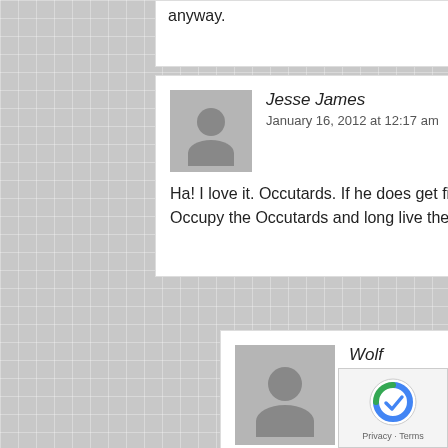anyway.
Reply
Jesse James
January 16, 2012 at 12:17 am
Ha! I love it. Occutards. If he does get fired he can expect a big donation from my family. Occupy the Occutards and long live the 1%.
Reply
Wolf
January 16, 2012 at 6:25 am
99% can beat the crap out of 1% any day Jessy James.... remember that next time you get screwed the way these people where… I will be happy to drive out to you, drive you 1000 miles from home, and have the police remove you